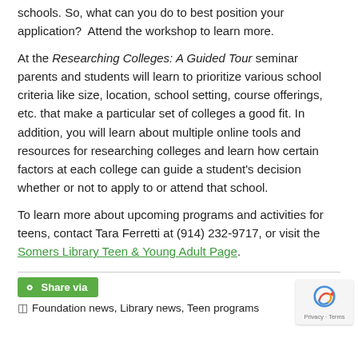schools. So, what can you do to best position your application?  Attend the workshop to learn more.
At the Researching Colleges: A Guided Tour seminar parents and students will learn to prioritize various school criteria like size, location, school setting, course offerings, etc. that make a particular set of colleges a good fit. In addition, you will learn about multiple online tools and resources for researching colleges and learn how certain factors at each college can guide a student's decision whether or not to apply to or attend that school.
To learn more about upcoming programs and activities for teens, contact Tara Ferretti at (914) 232-9717, or visit the Somers Library Teen & Young Adult Page.
Share via
Foundation news, Library news, Teen programs